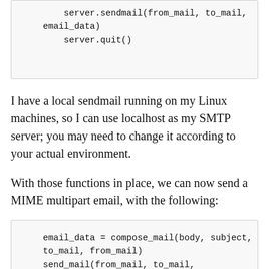server.sendmail(from_mail, to_mail,
email_data)
        server.quit()
I have a local sendmail running on my Linux machines, so I can use localhost as my SMTP server; you may need to change it according to your actual environment.
With those functions in place, we can now send a MIME multipart email, with the following:
email_data = compose_mail(body, subject,
to_mail, from_mail)
send_mail(from_mail, to_mail,
email_data.as_string())